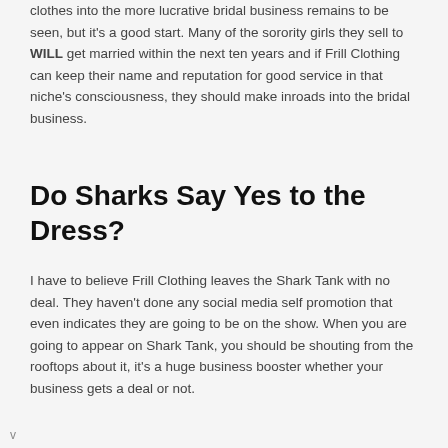clothes into the more lucrative bridal business remains to be seen, but it's a good start. Many of the sorority girls they sell to WILL get married within the next ten years and if Frill Clothing can keep their name and reputation for good service in that niche's consciousness, they should make inroads into the bridal business.
Do Sharks Say Yes to the Dress?
I have to believe Frill Clothing leaves the Shark Tank with no deal. They haven't done any social media self promotion that even indicates they are going to be on the show. When you are going to appear on Shark Tank, you should be shouting from the rooftops about it, it's a huge business booster whether your business gets a deal or not.
v